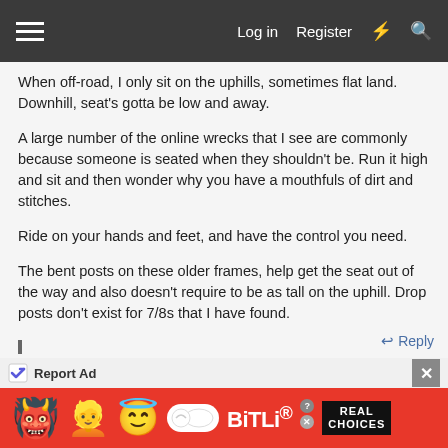Log in  Register
When off-road, I only sit on the uphills, sometimes flat land. Downhill, seat's gotta be low and away.
A large number of the online wrecks that I see are commonly because someone is seated when they shouldn't be. Run it high and sit and then wonder why you have a mouthfuls of dirt and stitches.
Ride on your hands and feet, and have the control you need.
The bent posts on these older frames, help get the seat out of the way and also doesn't require to be as tall on the uphill. Drop posts don't exist for 7/8s that I have found.
↩ Reply